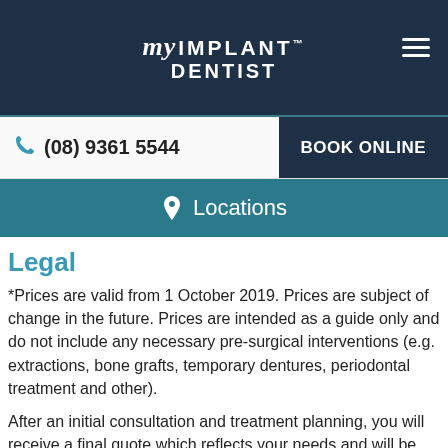[Figure (logo): My Implant Dentist logo in white text on dark navy background, with hamburger menu icon on the right]
(08) 9361 5544  BOOK ONLINE
Locations
Legal
*Prices are valid from 1 October 2019. Prices are subject of change in the future. Prices are intended as a guide only and do not include any necessary pre-surgical interventions (e.g. extractions, bone grafts, temporary dentures, periodontal treatment and other).
After an initial consultation and treatment planning, you will receive a final quote which reflects your needs and will be accurate. Please note that dental implants are not suitable for all patients. When a patient is found not to be a suitable candidate for dental implants, no dental